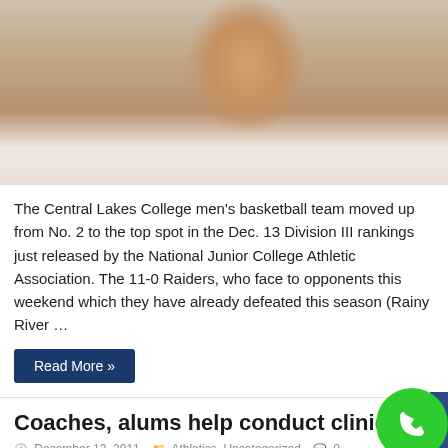[Figure (photo): A basketball player in a white jersey with arms raised, appearing to celebrate. The photo is cropped to show the upper body and face.]
The Central Lakes College men's basketball team moved up from No. 2 to the top spot in the Dec. 13 Division III rankings just released by the National Junior College Athletic Association. The 11-0 Raiders, who face to opponents this weekend which they have already defeated this season (Rainy River …
Read More »
Coaches, alums help conduct clinic
December 13, 2011   Athletics, Uncategorized   0